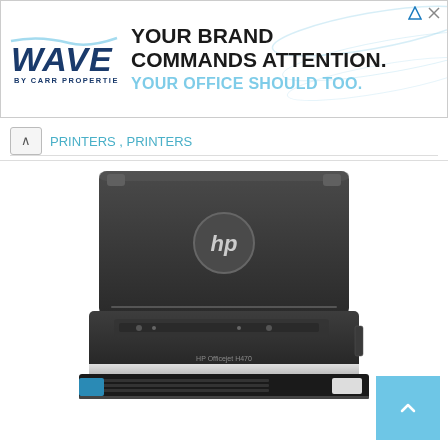[Figure (advertisement): Wave by Carr Properties advertisement banner. Logo on left with stylized 'WAVE' text and 'BY CARR PROPERTIES' below. Text on right reads 'YOUR BRAND COMMANDS ATTENTION.' in black bold, and 'YOUR OFFICE SHOULD TOO.' in light blue.]
PRINTERS , PRINTERS
[Figure (photo): HP portable inkjet printer (HP Officejet series) shown from front, lid open, in dark gray/black color with silver accent strip and blue button on front left. HP logo visible on lid.]
[Figure (other): Light blue back-to-top button with upward arrow in bottom right corner.]